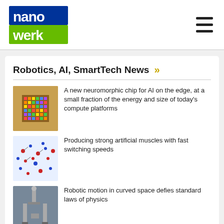nanowerk
Robotics, AI, SmartTech News
A new neuromorphic chip for AI on the edge, at a small fraction of the energy and size of today's compute platforms
Producing strong artificial muscles with fast switching speeds
Robotic motion in curved space defies standard laws of physics
Robot helps reveal how ants pass on knowledge